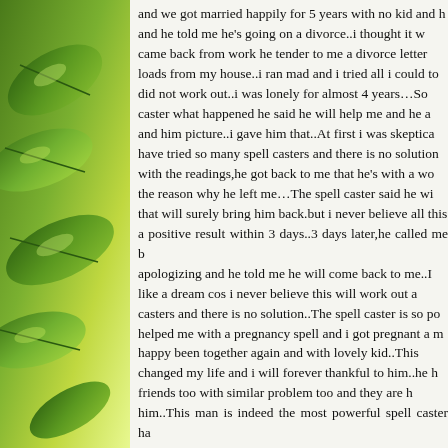[Figure (photo): Green leaves on a plant against a bright green background, forming a decorative left sidebar]
and we got married happily for 5 years with no kid and he told me he's going on a divorce..i thought it w came back from work he tender to me a divorce letter loads from my house..i ran mad and i tried all i could to did not work out..i was lonely for almost 4 years…So caster what happened he said he will help me and he a and him picture..i gave him that..At first i was skeptica have tried so many spell casters and there is no solution with the readings,he got back to me that he's with a wo the reason why he left me…The spell caster said he wi that will surely bring him back.but i never believe all this a positive result within 3 days..3 days later,he called me apologizing and he told me he will come back to me..I like a dream cos i never believe this will work out a casters and there is no solution..The spell caster is so po helped me with a pregnancy spell and i got pregnant a m happy been together again and with lovely kid..This changed my life and i will forever thankful to him..he h friends too with similar problem too and they are h him..This man is indeed the most powerful spell caster ha life..Am Posting this to the Forum in case there is a problem and still looking for a way out..you c drbavalspellsatemple@gmail.com